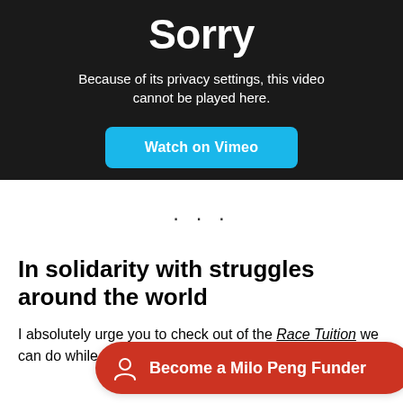[Figure (screenshot): Vimeo video player error screen with dark background showing 'Sorry' title, privacy message, and 'Watch on Vimeo' blue button]
· · ·
In solidarity with struggles around the world
I absolutely urge you to check out the Race Tuition we can do while we look at Black Lives Matter
[Figure (other): Red rounded pill button overlay reading 'Become a Milo Peng Funder' with person icon]